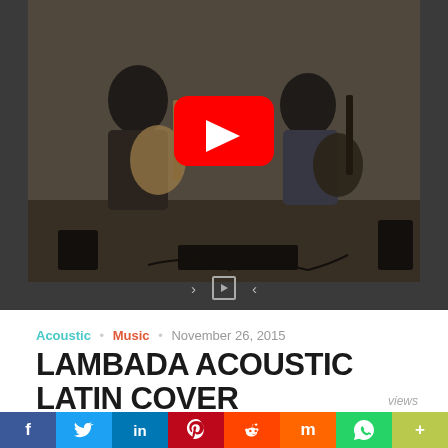[Figure (screenshot): YouTube video thumbnail showing two people playing acoustic guitars in a room with music equipment. A large red YouTube play button is centered over the image. Below the video are carousel navigation controls (arrows and a play icon).]
Acoustic • Music • November 26, 2015
LAMBADA ACOUSTIC LATIN COVER
views
[Figure (infographic): Social media share bar with icons for Facebook, Twitter, LinkedIn, Pinterest, Reddit, Mix, WhatsApp, and More.]